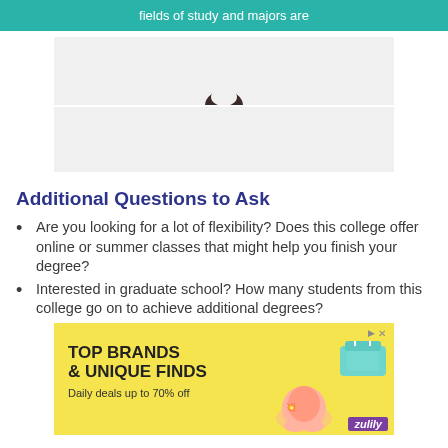fields of study and majors are
[Figure (other): Partially visible image area with loading indicator (dark semicircle/oreo icon) on light gray background]
Additional Questions to Ask
Are you looking for a lot of flexibility? Does this college offer online or summer classes that might help you finish your degree?
Interested in graduate school? How many students from this college go on to achieve additional degrees?
[Figure (other): Advertisement banner with yellow background showing 'TOP BRANDS & UNIQUE FINDS - Daily deals up to 70% off' with shoes and purse images, Zulily branding]